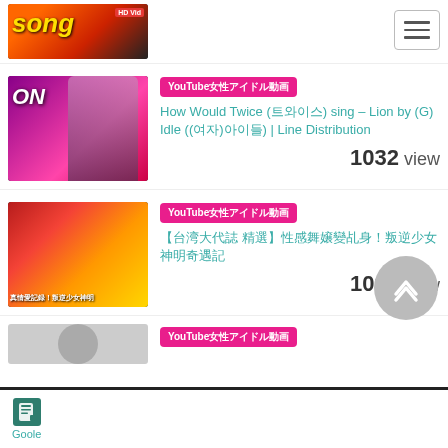[Figure (screenshot): Partial thumbnail of a video card at top, with orange/red background and 'song' text in yellow, HD Video badge visible, hamburger menu button top right]
[Figure (screenshot): YouTube video thumbnail showing a girl in black top against purple background, 'ON' text visible on left]
YouTube女性アイドル動画
How Would Twice (트와이스) sing – Lion by (G) Idle ((여자)아이들) | Line Distribution
1032 view
[Figure (screenshot): YouTube video thumbnail showing two women in colorful martial arts costumes]
YouTube女性アイドル動画
【台湾大代誌 精選】性感舞嬢變乩身！叛逆少女神明奇遇記
1020 view
[Figure (screenshot): Partial bottom card thumbnail, light colored]
YouTube女性アイドル動画
[Figure (logo): Goole app icon — teal/green book icon]
Goole